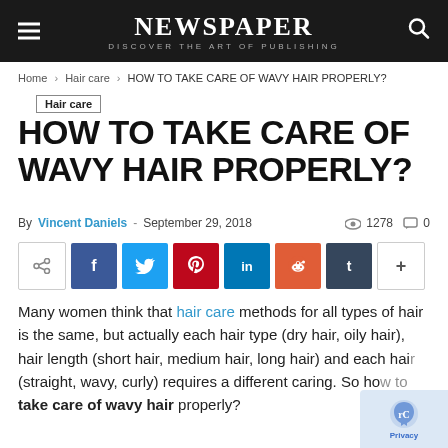NEWSPAPER — DISCOVER THE ART OF PUBLISHING
Home › Hair care › HOW TO TAKE CARE OF WAVY HAIR PROPERLY?
Hair care
HOW TO TAKE CARE OF WAVY HAIR PROPERLY?
By Vincent Daniels - September 29, 2018 · 1278 views · 0 comments
[Figure (infographic): Social sharing buttons: share, Facebook, Twitter, Pinterest, LinkedIn, Reddit, Tumblr, more]
Many women think that hair care methods for all types of hair is the same, but actually each hair type (dry hair, oily hair), hair length (short hair, medium hair, long hair) and each hair (straight, wavy, curly) requires a different caring. So how to take care of wavy hair properly?